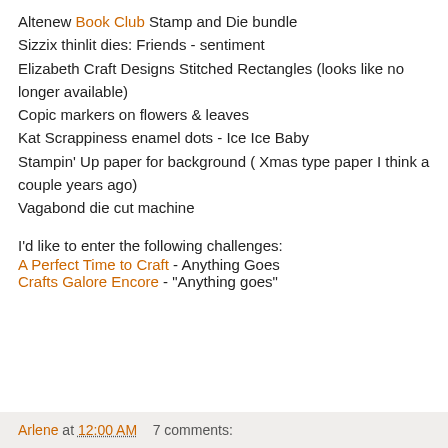Altenew Book Club Stamp and Die bundle
Sizzix thinlit dies: Friends - sentiment
Elizabeth Craft Designs Stitched Rectangles (looks like no longer available)
Copic markers on flowers & leaves
Kat Scrappiness enamel dots - Ice Ice Baby
Stampin' Up paper for background ( Xmas type paper I think a couple years ago)
Vagabond die cut machine
I'd like to enter the following challenges:
A Perfect Time to Craft - Anything Goes
Crafts Galore Encore - "Anything goes"
Arlene at 12:00 AM    7 comments: